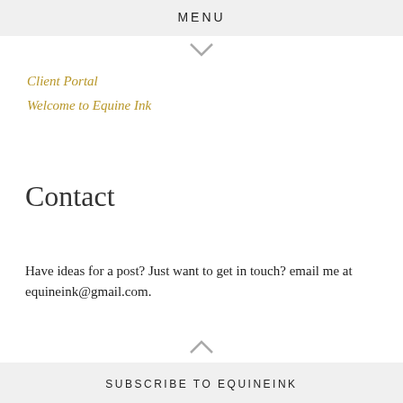MENU
Client Portal
Welcome to Equine Ink
Contact
Have ideas for a post? Just want to get in touch? email me at equineink@gmail.com.
SUBSCRIBE TO EQUINEINK